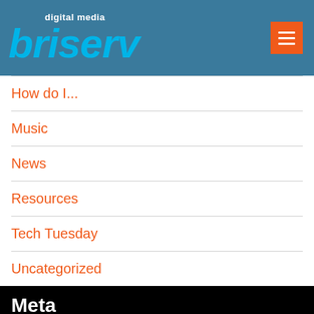digital media briserv
How do I...
Music
News
Resources
Tech Tuesday
Uncategorized
Meta
Log in
Entries feed